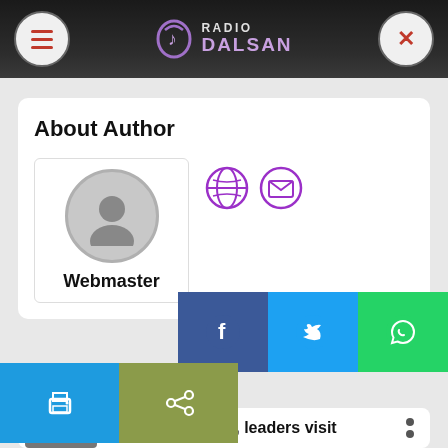Radio Dalsan
About Author
Webmaster
[Figure (screenshot): Social share buttons: Facebook, Twitter, WhatsApp, Print, Share]
Popular News
PM Hamza Barre, leaders visit